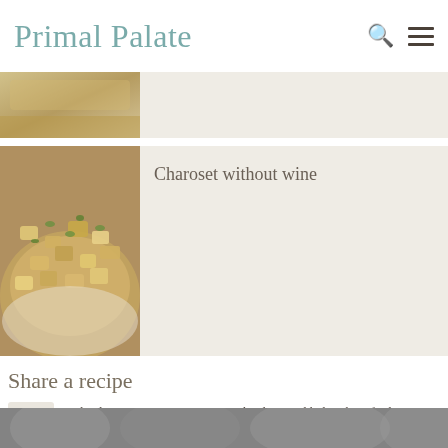Primal Palate
[Figure (photo): Partial food photo at top, cropped bread or flatbread dish]
[Figure (photo): Charoset dish - chopped apple and herb mixture on a plate]
Charoset without wine
Share a recipe
[Figure (illustration): Upload icon - upward arrow with tray]
Upload your own recipes to Primal Palate, and help others find great food on our site,, meal planner and app!
Latest blog posts
[Figure (photo): Black and white photo strip at bottom showing people's faces]